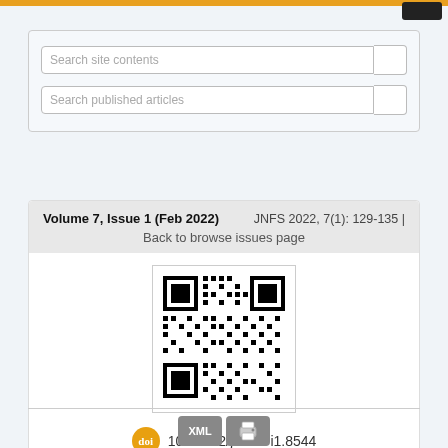Search site contents
Search published articles
Volume 7, Issue 1 (Feb 2022)   JNFS 2022, 7(1): 129-135 |
Back to browse issues page
[Figure (other): QR code linking to article DOI]
10.18502/jnfs.v7i1.8544